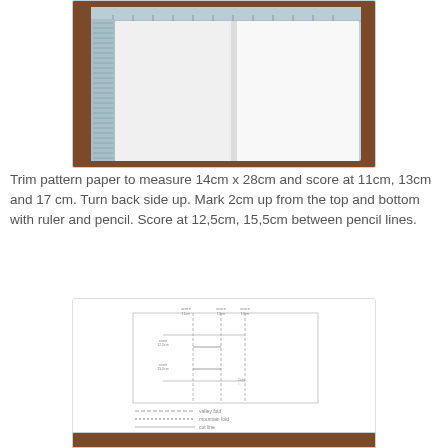[Figure (photo): Photograph of open notebook/booklet with white pages lying on a wooden surface, with a blue spine/binding visible, and a ruler at the top.]
Trim pattern paper to measure 14cm x 28cm and score at 11cm, 13cm and 17 cm. Turn back side up. Mark 2cm up from the top and bottom with ruler and pencil. Score at 12,5cm, 15,5cm between pencil lines.
[Figure (schematic): Diagram showing a scored paper pattern with measurement lines and fold annotations. Below the diagram are three legend lines: valley fold, mountain fold, cut line.]
[Figure (photo): Partial photograph at bottom of page showing a wooden surface, similar to the top photo.]